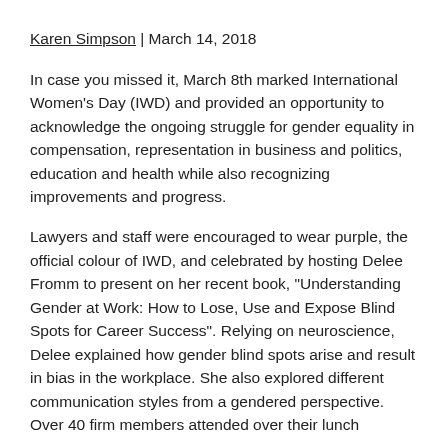Karen Simpson | March 14, 2018
In case you missed it, March 8th marked International Women’s Day (IWD) and provided an opportunity to acknowledge the ongoing struggle for gender equality in compensation, representation in business and politics, education and health while also recognizing improvements and progress.
Lawyers and staff were encouraged to wear purple, the official colour of IWD, and celebrated by hosting Delee Fromm to present on her recent book, “Understanding Gender at Work: How to Lose, Use and Expose Blind Spots for Career Success”. Relying on neuroscience, Delee explained how gender blind spots arise and result in bias in the workplace. She also explored different communication styles from a gendered perspective. Over 40 firm members attended over their lunch